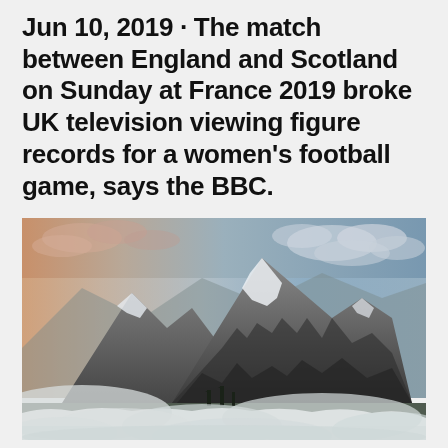Jun 10, 2019 · The match between England and Scotland on Sunday at France 2019 broke UK television viewing figure records for a women's football game, says the BBC.
[Figure (photo): Landscape photograph of a rocky mountain peak rising above a layer of low cloud or mist, with a dramatic sky featuring soft clouds at dusk or dawn with warm peachy-pink tones on the left and blue sky on the right. Dark evergreen trees are visible at the base of the mountain.]